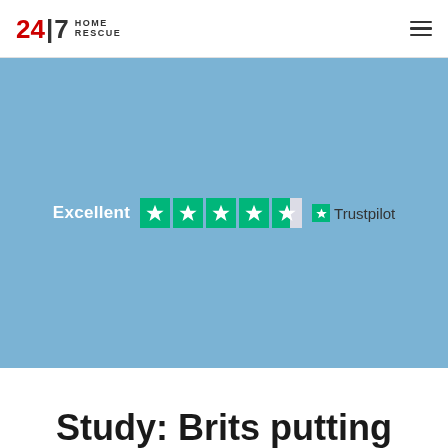24|7 HOME RESCUE
[Figure (logo): 24|7 Home Rescue logo with red 24, black |7, and HOME RESCUE text]
[Figure (infographic): Trustpilot Excellent rating widget showing 4.5 green stars on blue background with text 'Excellent' and Trustpilot branding]
Study: Brits putting